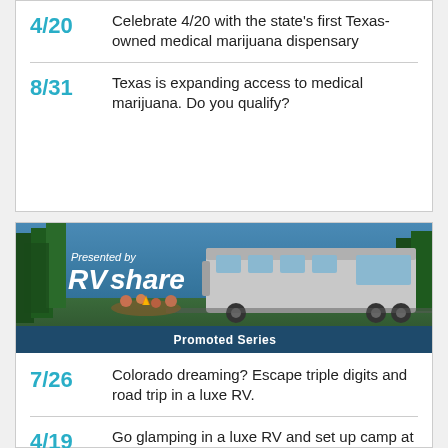4/20 Celebrate 4/20 with the state's first Texas-owned medical marijuana dispensary
8/31 Texas is expanding access to medical marijuana. Do you qualify?
[Figure (photo): RVshare promotional banner showing an RV parked at a campsite with people gathered around, with text 'Presented by RVshare' and 'Promoted Series' bar at bottom]
7/26 Colorado dreaming? Escape triple digits and road trip in a luxe RV.
4/19 Go glamping in a luxe RV and set up camp at these cool Texas spots